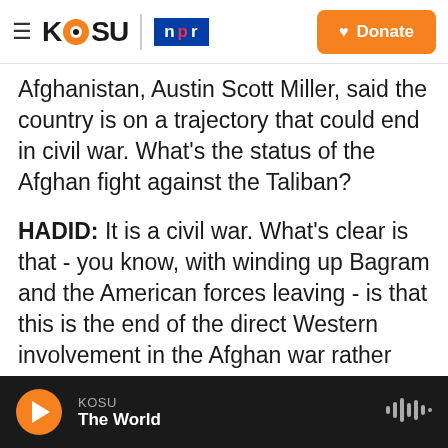KOSU | npr — Donate
Afghanistan, Austin Scott Miller, said the country is on a trajectory that could end in civil war. What's the status of the Afghan fight against the Taliban?
HADID: It is a civil war. What's clear is that - you know, with winding up Bagram and the American forces leaving - is that this is the end of the direct Western involvement in the Afghan war rather than an end to the war itself. In the past few weeks, the Taliban have been surging through Afghanistan. They've doubled the number of districts they hold. A respected think tank, the Afghanistan Analysts Network, reported today that Afghan forces had
KOSU — The World